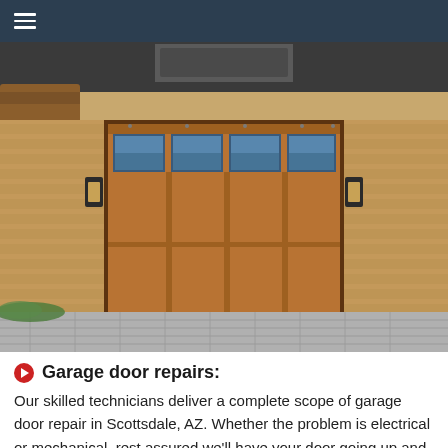Navigation bar with hamburger menu
[Figure (photo): Exterior photo of a house showing a large wooden garage door with four vertical panels and four rectangular glass windows at the top. The door spans the full width of a two-car garage. Stone shingle siding flanks the door on both sides, with wall-mounted lantern lights. A decorative wooden beam structure is visible above. The driveway is made of interlocking stone pavers.]
Garage door repairs:
Our skilled technicians deliver a complete scope of garage door repair in Scottsdale, AZ. Whether the problem is electrical or mechanical, rest assured we'll have your door going up and down smoothly.